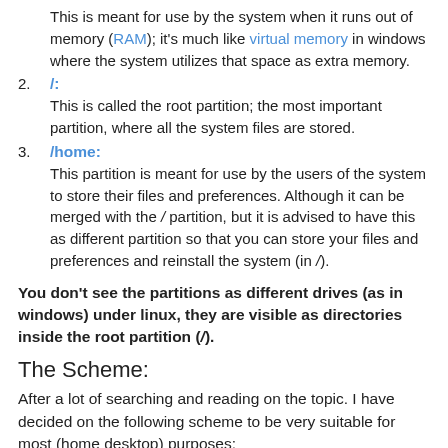This is meant for use by the system when it runs out of memory (RAM); it's much like virtual memory in windows where the system utilizes that space as extra memory.
/: This is called the root partition; the most important partition, where all the system files are stored.
/home: This partition is meant for use by the users of the system to store their files and preferences. Although it can be merged with the / partition, but it is advised to have this as different partition so that you can store your files and preferences and reinstall the system (in /).
You don't see the partitions as different drives (as in windows) under linux, they are visible as directories inside the root partition (/).
The Scheme:
After a lot of searching and reading on the topic. I have decided on the following scheme to be very suitable for most (home desktop) purposes: